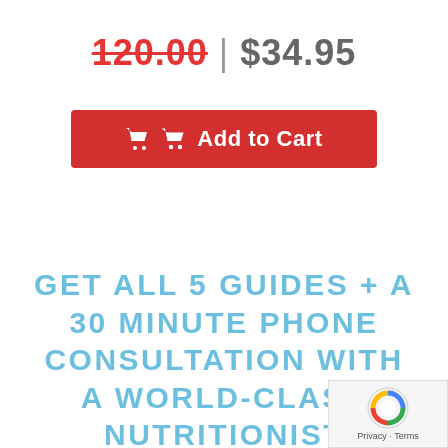120.00 | $34.95
Add to Cart
GET ALL 5 GUIDES + A 30 MINUTE PHONE CONSULTATION WITH A WORLD-CLASS NUTRITIONIST JORDAN GROSS